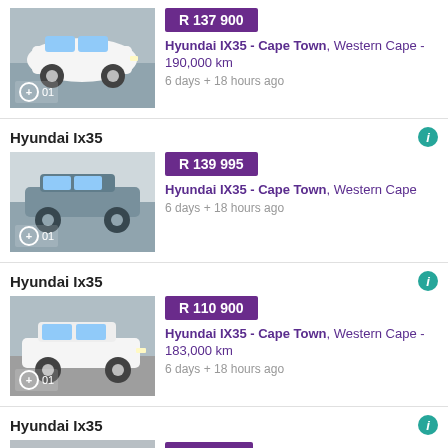[Figure (photo): White Hyundai IX35 SUV, front three-quarter view]
R 137 900
Hyundai IX35 - Cape Town, Western Cape - 190,000 km
6 days + 18 hours ago
Hyundai Ix35
[Figure (photo): Silver/grey Hyundai IX35 SUV, side view]
R 139 995
Hyundai IX35 - Cape Town, Western Cape
6 days + 18 hours ago
Hyundai Ix35
[Figure (photo): White Hyundai IX35 SUV, front three-quarter view]
R 110 900
Hyundai IX35 - Cape Town, Western Cape - 183,000 km
6 days + 18 hours ago
Hyundai Ix35
[Figure (photo): White Hyundai IX35 SUV, partial view at bottom of page]
R 149 900 (partial)